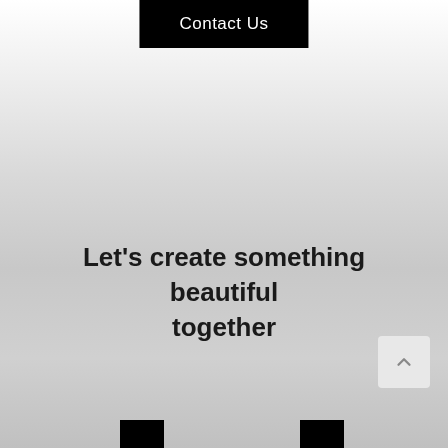Contact Us
Let's create something beautiful together